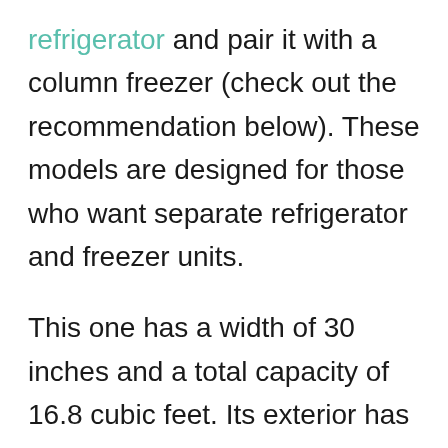refrigerator and pair it with a column freezer (check out the recommendation below). These models are designed for those who want separate refrigerator and freezer units.

This one has a width of 30 inches and a total capacity of 16.8 cubic feet. Its exterior has the typical Thermador stainless steel, but it's also panel-ready so that you can blend it into the kitchen design. Inside, you get ample storage space in the form of shelv[scroll button] ThermaFresh drawers, and gallon-sized door